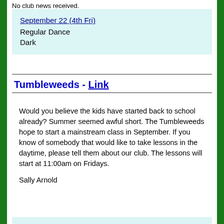No club news received.
September 22 (4th Fri)
Regular Dance
Dark
Tumbleweeds - Link
Would you believe the kids have started back to school already? Summer seemed awful short. The Tumbleweeds hope to start a mainstream class in September. If you know of somebody that would like to take lessons in the daytime, please tell them about our club. The lessons will start at 11:00am on Fridays.

Sally Arnold